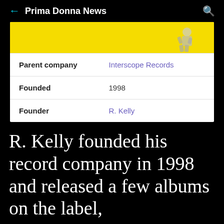Prima Donna News
[Figure (screenshot): Screenshot of a mobile Wikipedia-style infobox showing: Parent company: Interscope Records, Founded: 1998, Founder: R. Kelly. Above the table is a partial yellow image with a cartoon figure.]
R. Kelly founded his record company in 1998 and released a few albums on the label,